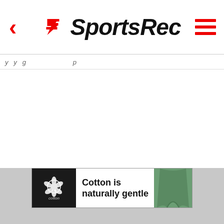SportsRec
y y g p
[Figure (infographic): Cotton is naturally gentle advertisement banner with cotton logo on dark background, green pants on right side]